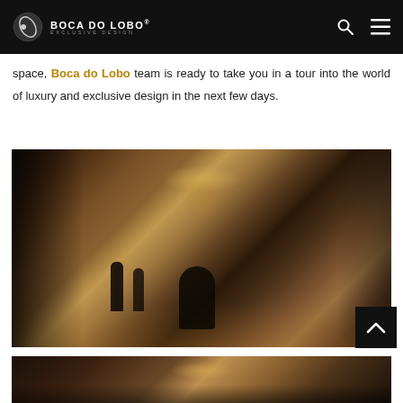BOCA DO LOBO® exclusive design
space, Boca do Lobo team is ready to take you in a tour into the world of luxury and exclusive design in the next few days.
[Figure (photo): Interior of a luxury design showroom with warm lighting, large chandelier, mirrored columns, modern furniture including a black chair, and visitors browsing]
[Figure (photo): Bottom strip of another luxury interior photo with warm ambient lighting]